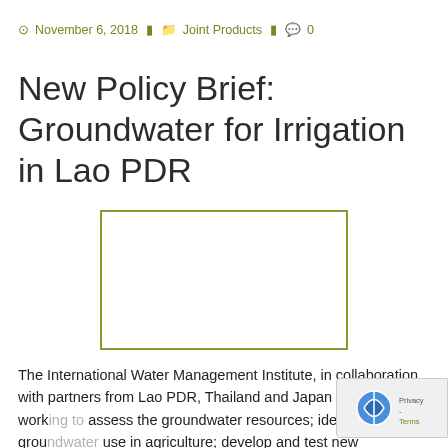November 6, 2018   Joint Products   0
New Policy Brief: Groundwater for Irrigation in Lao PDR
[Figure (other): Empty white box with olive/green border, placeholder for an image related to the policy brief on groundwater for irrigation in Lao PDR.]
The International Water Management Institute, in collaboration with partners from Lao PDR, Thailand and Japan have been working to assess the groundwater resources; identify existing groundwater use in agriculture; develop and test new community-managed